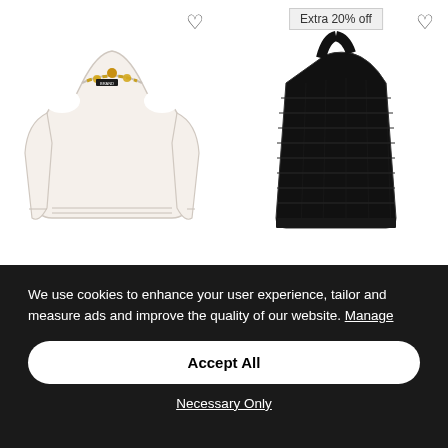[Figure (photo): White cold-shoulder sweater with gold chain neckline detail on left; black knit crop halter top on right. Heart/wishlist icons visible. 'Extra 20% off' badge shown above right product.]
We use cookies to enhance your user experience, tailor and measure ads and improve the quality of our website. Manage
Accept All
Necessary Only